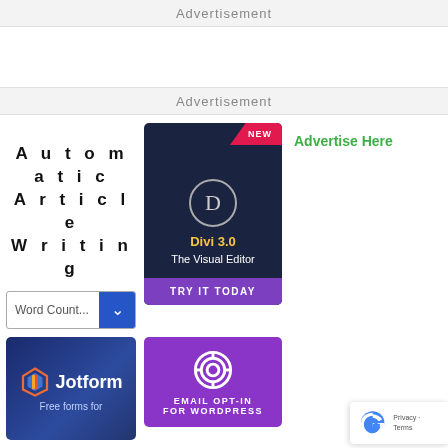Advertisement
Advertisement
Automatic Article Writing
[Figure (screenshot): Divi 3.0 The Visual Editor - TRY IT TODAY ad banner with NEW badge]
Advertise Here
[Figure (logo): Jotform - Free forms for ad]
[Figure (screenshot): Email Opt-In for WordPress ad banner with purple background and ring icon]